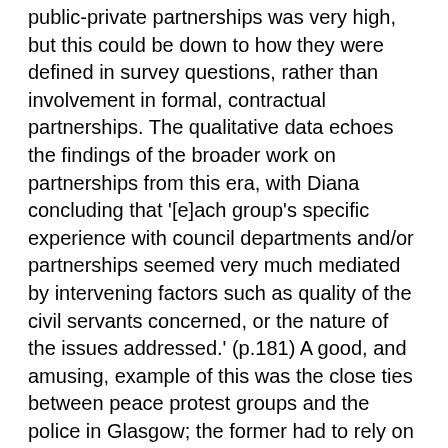public-private partnerships was very high, but this could be down to how they were defined in survey questions, rather than involvement in formal, contractual partnerships. The qualitative data echoes the findings of the broader work on partnerships from this era, with Diana concluding that '[e]ach group's specific experience with council departments and/or partnerships seemed very much mediated by intervening factors such as quality of the civil servants concerned, or the nature of the issues addressed.' (p.181) A good, and amusing, example of this was the close ties between peace protest groups and the police in Glasgow; the former had to rely on the latter to organise their disruptive protests including providing the police with a handy guide of how many people they expected to be arrested!
The theoretical and methodological innovations of this book will be invaluable to scholars of social movements and civil society in an urban context. As stated above, as a reviewer I am not one of these scholars, therefore the book has a number of weaknesses for a more general reader. Firstly, the data is now extremely dated. Writing from the perspective of Scotland, immense changes have occurred in the 13 years